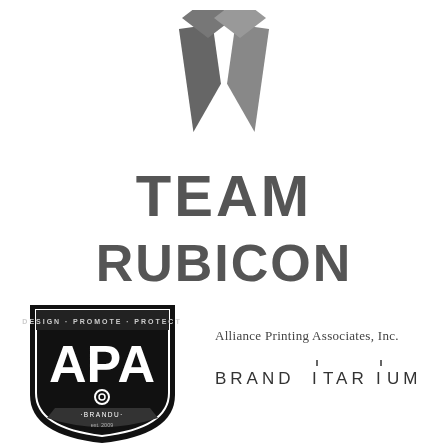[Figure (logo): Team Rubicon logo: two interlocking angular shield/arrow shapes in dark gray above bold text 'TEAM RUBICON' in large gray sans-serif font]
[Figure (logo): APA BrandU logo: black shield badge with text 'DESIGN PROMOTE PROTECT' at top, large white 'APA' letters, gear icon, and 'BRANDU est. 2009' at bottom]
[Figure (logo): Alliance Printing Associates, Inc. text logo in serif font]
[Figure (logo): BRANDITARIUM logo in thin uppercase sans-serif letters with small vertical accent marks above the two I characters]